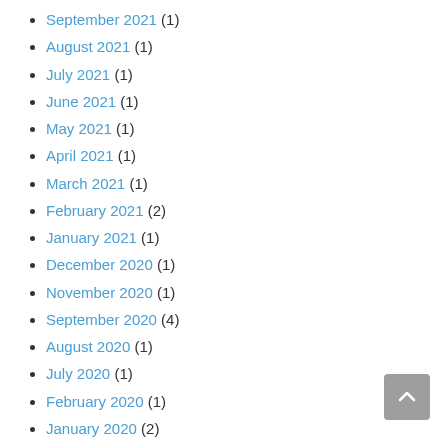September 2021 (1)
August 2021 (1)
July 2021 (1)
June 2021 (1)
May 2021 (1)
April 2021 (1)
March 2021 (1)
February 2021 (2)
January 2021 (1)
December 2020 (1)
November 2020 (1)
September 2020 (4)
August 2020 (1)
July 2020 (1)
February 2020 (1)
January 2020 (2)
November 2019 (1)
September 2019 (1)
November 2018 (1)
October 2018 (2)
April 2018 (1)
February 2018 (1)